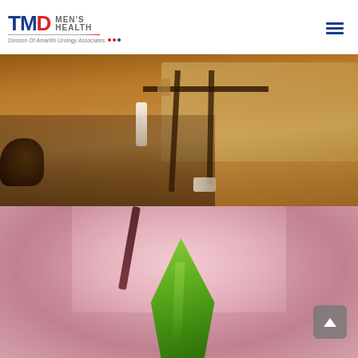TMD Men's Health - Division Of Amarillo Urology Associates
[Figure (photo): Warm-toned beach scene showing a person lying on a lounge chair with a water bottle, beach and ocean visible in the background, sepia/orange color overlay]
[Figure (photo): Close-up macro photo of a green aloe vera or succulent leaf being held against a pink blurred background]